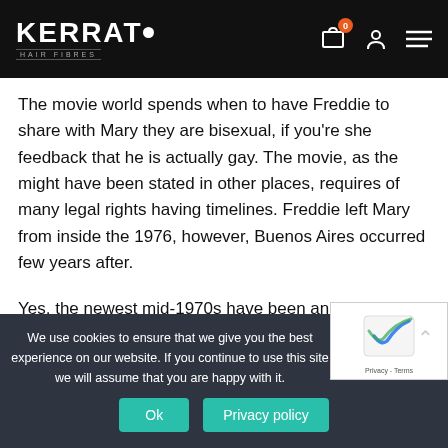KERRATO HAIR FIBRES
The movie world spends when to have Freddie to share with Mary they are bisexual, if you're she feedback that he is actually gay. The movie, as the might have been stated in other places, requires of many legal rights having timelines. Freddie left Mary from inside the 1976, however, Buenos Aires occurred few years after.
Yes, the newest mid-1970s have been an intricate going back to Freddie, Mary in addition to star's burgeoning sex.
We use cookies to ensure that we give you the best experience on our website. If you continue to use this site we will assume that you are happy with it.